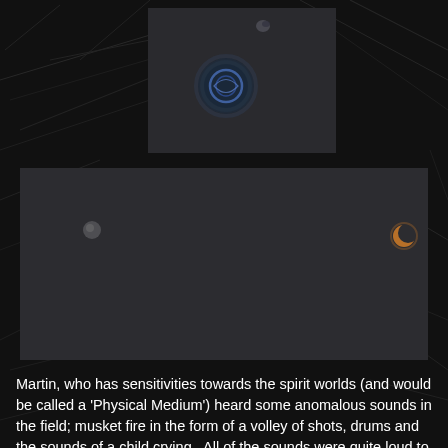[Figure (photo): Small dark image showing a faint glowing orb/sphere with a bluish circular symbol (possibly Earth or a spirit orb) against a very dark background. A small crescent-like object visible at top.]
[Figure (photo): Wide dark image showing two faint objects against a very dark background: a small grey sphere on the left side and a small crescent-shaped orange/amber object on the right side.]
Martin, who has sensitivities towards the spirit worlds (and would be called a 'Physical Medium') heard some anomalous sounds in the field; musket fire in the form of a volley of shots, drums and the sounds of a child crying.  All of the sounds were quite loud to